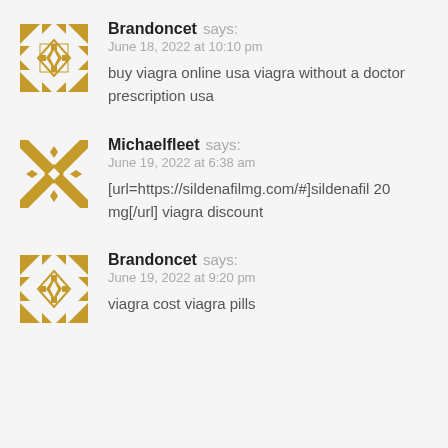[Figure (illustration): Golden decorative geometric pattern avatar for Brandoncet]
Brandoncet says:
June 18, 2022 at 10:10 pm
buy viagra online usa viagra without a doctor prescription usa
[Figure (illustration): Golden decorative geometric pattern avatar for Michaelfleet]
Michaelfleet says:
June 19, 2022 at 6:38 am
[url=https://sildenafilmg.com/#]sildenafil 20 mg[/url] viagra discount
[Figure (illustration): Golden decorative geometric pattern avatar for Brandoncet]
Brandoncet says:
June 19, 2022 at 9:20 pm
viagra cost viagra pills